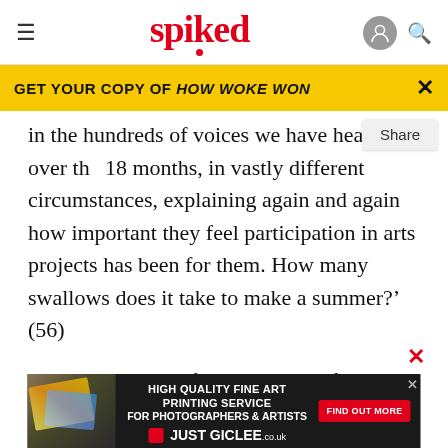spiked
GET YOUR COPY OF HOW WOKE WON
in the hundreds of voices we have heard over the 18 months, in vastly different circumstances, explaining again and again how important they feel participation in arts projects has been for them. How many swallows does it take to make a summer?' (56)
Given the extent of Matarasso's influence, these criticisms throw the whole project of evidencing the social impact of the cultural sector into doubt. They
also in...
ABOUT
[Figure (screenshot): Advertisement for Just Giclee high quality fine art printing service for photographers and artists]